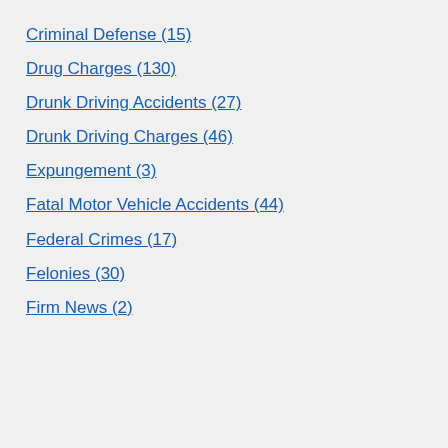Criminal Defense (15)
Drug Charges (130)
Drunk Driving Accidents (27)
Drunk Driving Charges (46)
Expungement (3)
Fatal Motor Vehicle Accidents (44)
Federal Crimes (17)
Felonies (30)
Firm News (2)